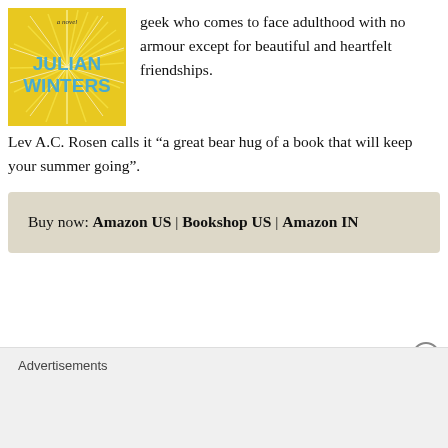[Figure (illustration): Book cover of a novel by Julian Winters with yellow sunburst design and blue text]
geek who comes to face adulthood with no armour except for beautiful and heartfelt friendships.
Lev A.C. Rosen calls it “a great bear hug of a book that will keep your summer going”.
Buy now: Amazon US | Bookshop US | Amazon IN
Advertisements